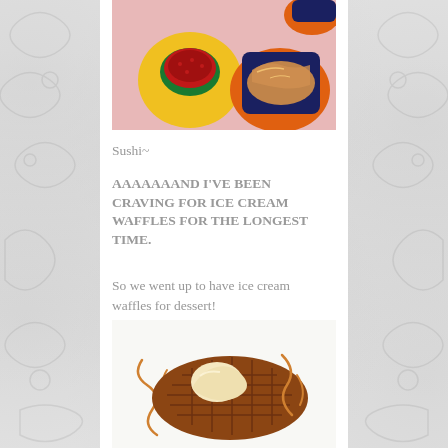[Figure (photo): Sushi dishes on colorful plates - a yellow plate with red sushi and a dark blue bowl with food, on a pink surface with an orange plate visible]
Sushi~
AAAAAAAND I'VE BEEN CRAVING FOR ICE CREAM WAFFLES FOR THE LONGEST TIME.
So we went up to have ice cream waffles for dessert!
[Figure (photo): Ice cream waffle dessert with caramel drizzle on a white plate]